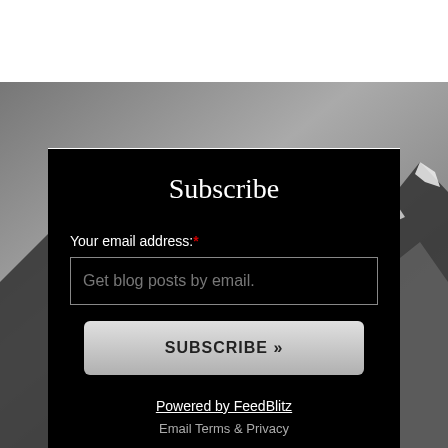Subscribe
Your email address: *
Get blog posts by email.
SUBSCRIBE »
Powered by FeedBlitz
Email Terms & Privacy